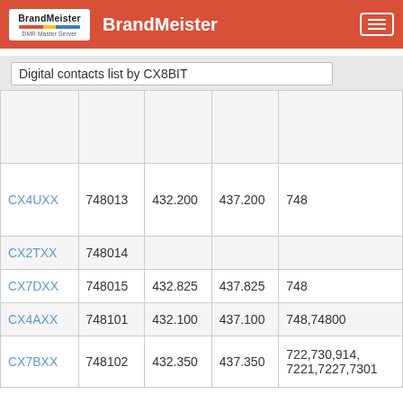BrandMeister
Digital contacts list by CX8BIT
| Callsign | ID | RX | TX | Color Code / TG |
| --- | --- | --- | --- | --- |
|  |  |  |  |  |
| CX4UXX | 748013 | 432.200 | 437.200 | 748 |
| CX2TXX | 748014 |  |  |  |
| CX7DXX | 748015 | 432.825 | 437.825 | 748 |
| CX4AXX | 748101 | 432.100 | 437.100 | 748,74800 |
| CX7BXX | 748102 | 432.350 | 437.350 | 722,730,914,7221,7227,7301 |